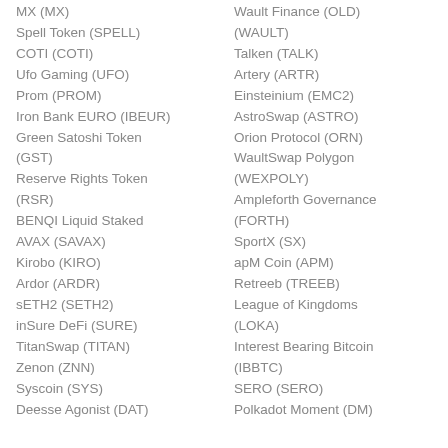MX (MX)
Spell Token (SPELL)
COTI (COTI)
Ufo Gaming (UFO)
Prom (PROM)
Iron Bank EURO (IBEUR)
Green Satoshi Token (GST)
Reserve Rights Token (RSR)
BENQI Liquid Staked AVAX (SAVAX)
Kirobo (KIRO)
Ardor (ARDR)
sETH2 (SETH2)
inSure DeFi (SURE)
TitanSwap (TITAN)
Zenon (ZNN)
Syscoin (SYS)
Deesse Agonist (DAT)
Wault Finance (OLD) (WAULT)
Talken (TALK)
Artery (ARTR)
Einsteinium (EMC2)
AstroSwap (ASTRO)
Orion Protocol (ORN)
WaultSwap Polygon (WEXPOLY)
Ampleforth Governance (FORTH)
SportX (SX)
apM Coin (APM)
Retreeb (TREEB)
League of Kingdoms (LOKA)
Interest Bearing Bitcoin (IBBTC)
SERO (SERO)
Polkadot Moment (DM)